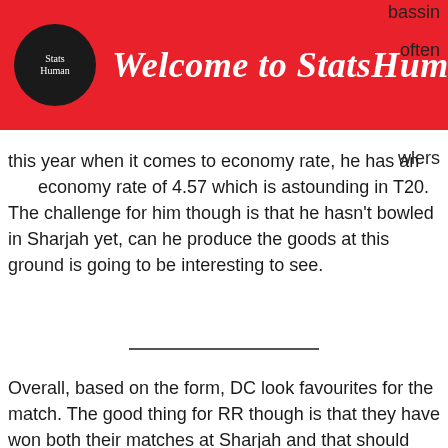[Figure (logo): StatsHuman logo banner — red background with circular black logo on left and 'Welcome to StatsHuman' in white italic script]
bassin
often
wlers this year when it comes to economy rate, he has an economy rate of 4.57 which is astounding in T20. The challenge for him though is that he hasn't bowled in Sharjah yet, can he produce the goods at this ground is going to be interesting to see.
Overall, based on the form, DC look favourites for the match. The good thing for RR though is that they have won both their matches at Sharjah and that should instil confidence in them. I feel RR can upset DC in this match if two of their top 3 batsmen can get going.